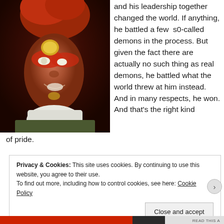[Figure (photo): Close-up portrait photo of a performer (David Bowie as Ziggy Stardust) with dramatic face paint including a gold circle on the forehead and red eye shadow, wearing a white ruffled collar and colorful costume, shot against a dark background.]
and his leadership together changed the world. If anything, he battled a few  s0-called demons in the process. But given the fact there are actually no such thing as real demons, he battled what the world threw at him instead. And in many respects, he won. And that's the right kind of pride.
Privacy & Cookies: This site uses cookies. By continuing to use this website, you agree to their use.
To find out more, including how to control cookies, see here: Cookie Policy
Close and accept